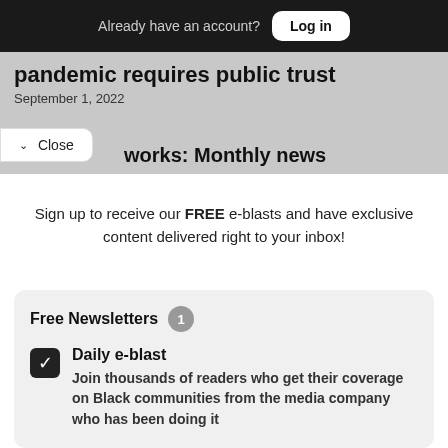Already have an account? Log in
pandemic requires public trust
September 1, 2022
works: Monthly news
Sign up to receive our FREE e-blasts and have exclusive content delivered right to your inbox!
Free Newsletters 1
Daily e-blast
Join thousands of readers who get their coverage on Black communities from the media company who has been doing it